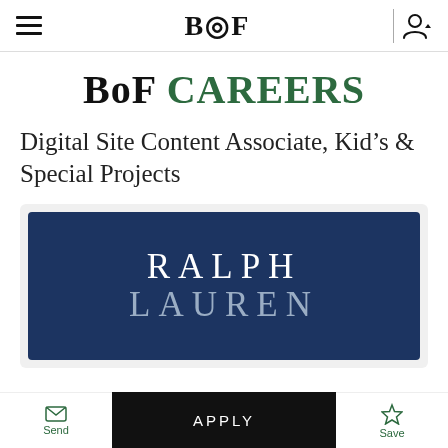BoF — Navigation bar with hamburger menu, BoF logo, and user account icon
BoF CAREERS
Digital Site Content Associate, Kid's & Special Projects
[Figure (logo): Ralph Lauren logo — dark navy blue background with 'RALPH LAUREN' text in large white/light blue serif letters]
Send | APPLY | Save